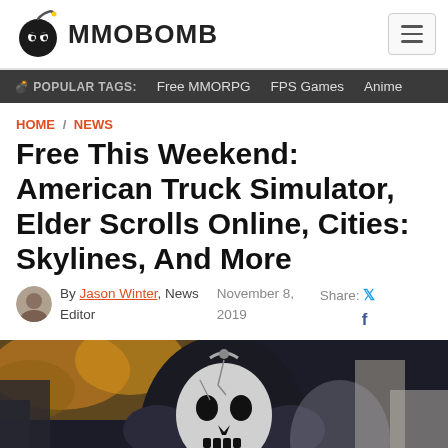MMOBOMB
POPULAR TAGS: Free MMORPG   FPS Games   Anime
HOME / NEWS
Free This Weekend: American Truck Simulator, Elder Scrolls Online, Cities: Skylines, And More
By Jason Winter, News Editor   November 8, 2019   Share:
[Figure (photo): A character in dark skull-faced armor/mask with metallic details, set against a background with autumn foliage and urban buildings.]